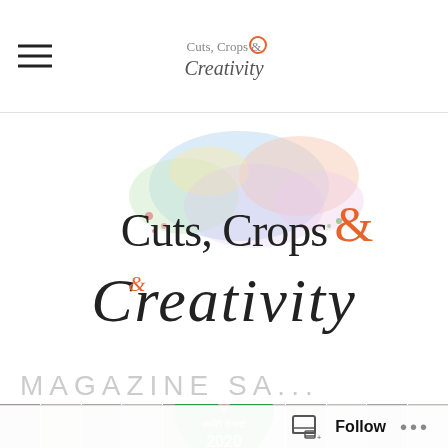Cuts, Crops & Creativity
[Figure (logo): Large Cuts, Crops & Creativity logo with colorful paint splatter watercolor background, decorative script font for Creativity, with ampersand design]
[Figure (photo): Horizontal photo strip collage showing multiple people, with a green heart shape overlay saying 'with love' and showing partial year numbers]
PAPERCRAFTS & SCRAPBOOKING
MAGAZINE SA...
Follow ...